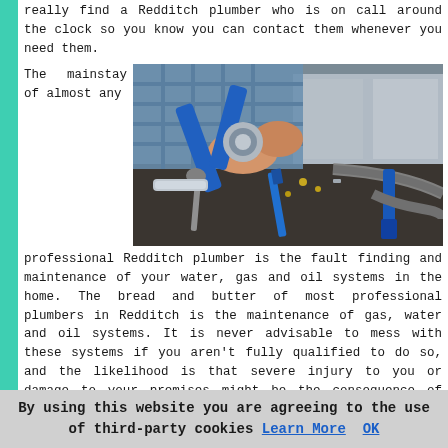really find a Redditch plumber who is on call around the clock so you know you can contact them whenever you need them.
The mainstay of almost any
[Figure (photo): Hands using blue pliers/wrench tool on plumbing fittings and various plumbing tools laid out on a dark surface]
professional Redditch plumber is the fault finding and maintenance of your water, gas and oil systems in the home. The bread and butter of most professional plumbers in Redditch is the maintenance of gas, water and oil systems. It is never advisable to mess with these systems if you aren't fully qualified to do so, and the likelihood is that severe injury to you or damage to your premises might be the consequence of such actions.
By using this website you are agreeing to the use of third-party cookies Learn More OK